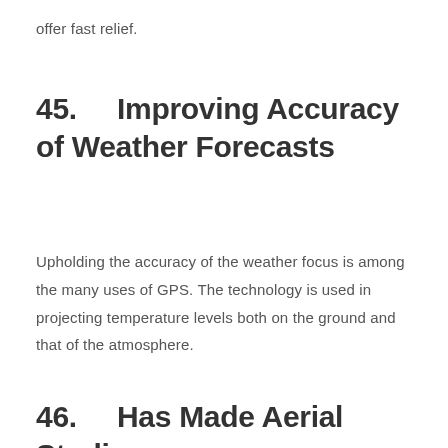offer fast relief.
45.    Improving Accuracy of Weather Forecasts
Upholding the accuracy of the weather focus is among the many uses of GPS. The technology is used in projecting temperature levels both on the ground and that of the atmosphere.
46.    Has Made Aerial Studies